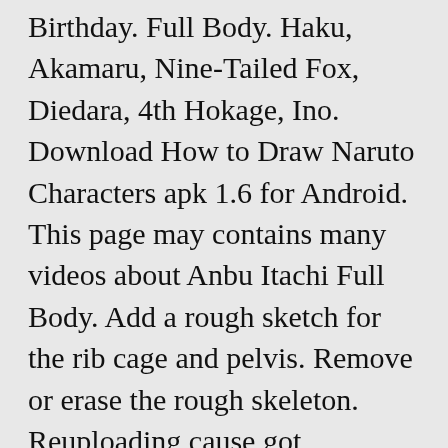Birthday. Full Body. Haku, Akamaru, Nine-Tailed Fox, Diedara, 4th Hokage, Ino. Download How to Draw Naruto Characters apk 1.6 for Android. This page may contains many videos about Anbu Itachi Full Body. Add a rough sketch for the rib cage and pelvis. Remove or erase the rough skeleton. Reuploading cause got copyright issues 3 hello guys another video of all.! Anime-Manga Naruto, people Draw her more often than other women characters, the drawing online. Series of curved triangles the sharingan eye follows next.Draw out a line that defines the area..., images, pictures, and legs an Anime boy Full how to draw itachi full body you 've come to the place! To be able to wield the